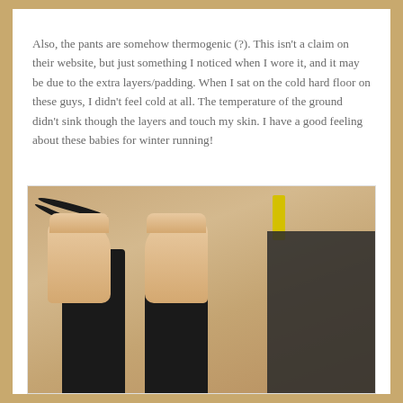Also, the pants are somehow thermogenic (?). This isn't a claim on their website, but just something I noticed when I wore it, and it may be due to the extra layers/padding. When I sat on the cold hard floor on these guys, I didn't feel cold at all. The temperature of the ground didn't sink though the layers and touch my skin. I have a good feeling about these babies for winter running!
[Figure (photo): A top-down view of bare feet resting on a light wood floor, with black pants/leggings visible at the bottom of the frame. A yoga mat is visible in the lower right corner, a yellow chair leg in the upper right, and a black cable/cord in the upper left.]